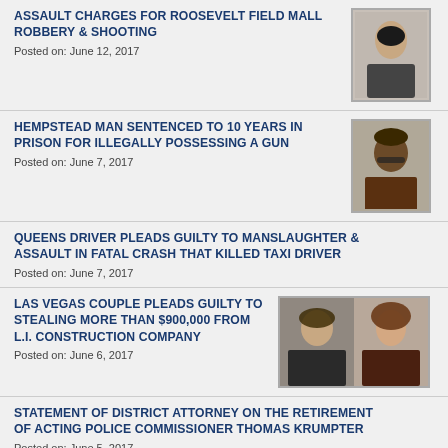ASSAULT CHARGES FOR ROOSEVELT FIELD MALL ROBBERY & SHOOTING
Posted on: June 12, 2017
[Figure (photo): Mugshot of male suspect]
HEMPSTEAD MAN SENTENCED TO 10 YEARS IN PRISON FOR ILLEGALLY POSSESSING A GUN
Posted on: June 7, 2017
[Figure (photo): Mugshot of male suspect with glasses]
QUEENS DRIVER PLEADS GUILTY TO MANSLAUGHTER & ASSAULT IN FATAL CRASH THAT KILLED TAXI DRIVER
Posted on: June 7, 2017
LAS VEGAS COUPLE PLEADS GUILTY TO STEALING MORE THAN $900,000 FROM L.I. CONSTRUCTION COMPANY
Posted on: June 6, 2017
[Figure (photo): Mugshots of male and female suspects]
STATEMENT OF DISTRICT ATTORNEY ON THE RETIREMENT OF ACTING POLICE COMMISSIONER THOMAS KRUMPTER
Posted on: June 5, 2017